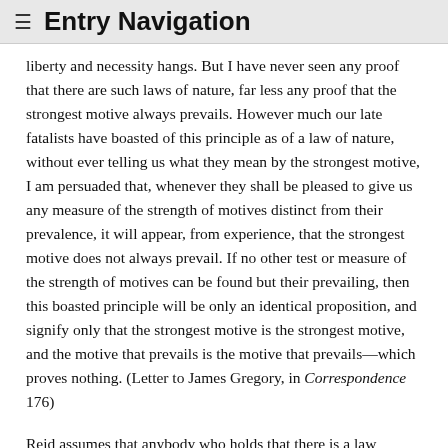≡ Entry Navigation
liberty and necessity hangs. But I have never seen any proof that there are such laws of nature, far less any proof that the strongest motive always prevails. However much our late fatalists have boasted of this principle as of a law of nature, without ever telling us what they mean by the strongest motive, I am persuaded that, whenever they shall be pleased to give us any measure of the strength of motives distinct from their prevalence, it will appear, from experience, that the strongest motive does not always prevail. If no other test or measure of the strength of motives can be found but their prevailing, then this boasted principle will be only an identical proposition, and signify only that the strongest motive is the strongest motive, and the motive that prevails is the motive that prevails—which proves nothing. (Letter to James Gregory, in Correspondence 176)
Reid assumes that anybody who holds that there is a law